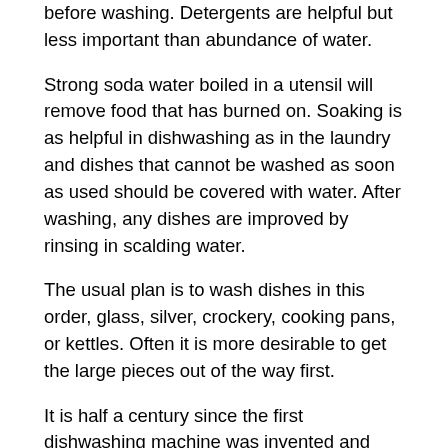before washing. Detergents are helpful but less important than abundance of water.
Strong soda water boiled in a utensil will remove food that has burned on. Soaking is as helpful in dishwashing as in the laundry and dishes that cannot be washed as soon as used should be covered with water. After washing, any dishes are improved by rinsing in scalding water.
The usual plan is to wash dishes in this order, glass, silver, crockery, cooking pans, or kettles. Often it is more desirable to get the large pieces out of the way first.
It is half a century since the first dishwashing machine was invented and though they are in general use for hotels, hand work seems better adapted to most households.
To illustrate the effect of the range of temperature from the block of ice at 32 ° F to the steaming kettle at 2120 F let us follow the process of making a simple gelatine jelly. The gelatine has been extracted for us in factories from bones of animals and needs no cooking, but must be dissolved and combined with liquid and flavoring. It is first softened in cold water, the time required varying according to the size of the particles of gelatine. Then it must be dissolved with boiling liquid. Use